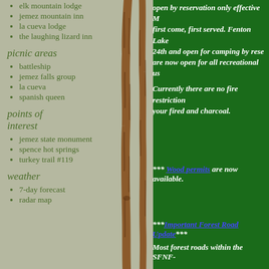elk mountain lodge
jemez mountain inn
la cueva lodge
the laughing lizard inn
picnic areas
battleship
jemez falls group
la cueva
spanish queen
points of interest
jemez state monument
spence hot springs
turkey trail #119
weather
7-day forecast
radar map
open by reservation only effective M... first come, first served. Fenton Lake 24th and open for camping by rese... are now open for all recreational us...
Currently there are no fire restriction... your fired and charcoal.
*** Wood permits are now available.
***Important Forest Road Update***
Most forest roads within the SFNF-